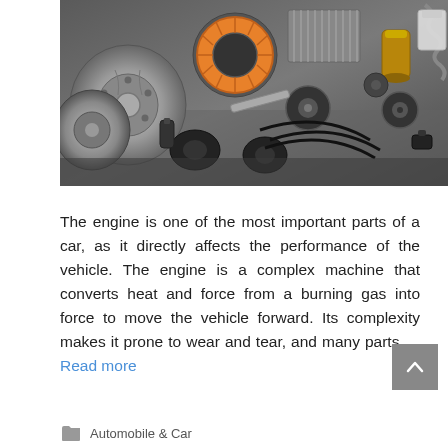[Figure (photo): Assorted automotive parts and components spread on a gray surface, including brake discs, an orange air filter, serpentine belt, spark plug wires, oil filter, water pump, suspension parts, and other engine/drivetrain components.]
The engine is one of the most important parts of a car, as it directly affects the performance of the vehicle. The engine is a complex machine that converts heat and force from a burning gas into force to move the vehicle forward. Its complexity makes it prone to wear and tear, and many parts … Read more
Automobile & Car